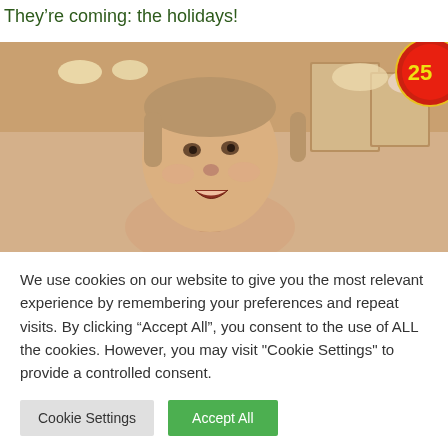They're coming: the holidays!
[Figure (photo): A young boy (Macaulay Culkin from Home Alone) with an open-mouthed surprised expression, photographed from the side in a warm-toned interior setting. A red and yellow circular badge/sticker with '25' is visible in the top-right corner.]
We use cookies on our website to give you the most relevant experience by remembering your preferences and repeat visits. By clicking “Accept All”, you consent to the use of ALL the cookies. However, you may visit "Cookie Settings" to provide a controlled consent.